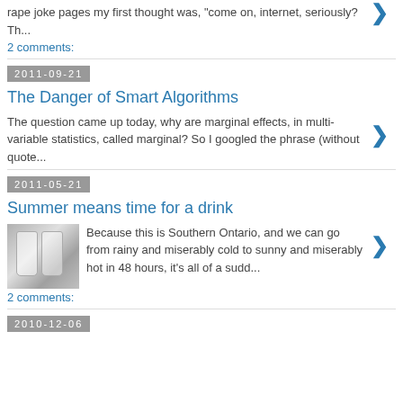rape joke pages my first thought was, "come on, internet, seriously? Th...
2 comments:
2011-09-21
The Danger of Smart Algorithms
The question came up today, why are marginal effects, in multi-variable statistics, called marginal? So I googled the phrase (without quote...
2011-05-21
Summer means time for a drink
[Figure (photo): Photo of two tall drink glasses on a surface]
Because this is Southern Ontario, and we can go from rainy and miserably cold to sunny and miserably hot in 48 hours, it's all of a sudd...
2 comments:
2010-12-06